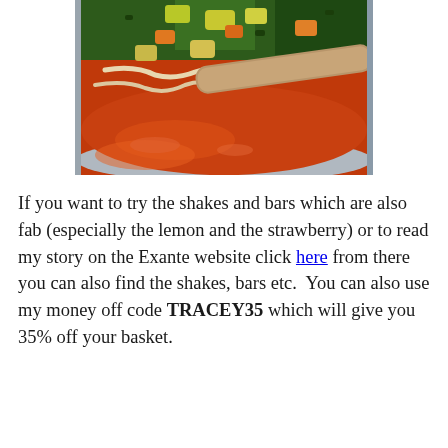[Figure (photo): Close-up photo of a pot of vegetable and chicken soup with a wooden spoon, showing colorful diced vegetables including carrots, potatoes, zucchini, and kale in a tomato-based broth.]
If you want to try the shakes and bars which are also fab (especially the lemon and the strawberry) or to read my story on the Exante website click here from there you can also find the shakes, bars etc.  You can also use my money off code TRACEY35 which will give you 35% off your basket.